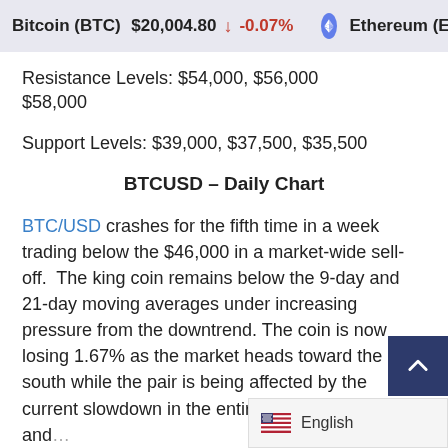Bitcoin (BTC) $20,004.80 ↓ -0.07%   Ethereum (ETH) $1,4…
Resistance Levels: $54,000, $56,000 $58,000
Support Levels: $39,000, $37,500, $35,500
BTCUSD – Daily Chart
BTC/USD crashes for the fifth time in a week trading below the $46,000 in a market-wide sell-off.  The king coin remains below the 9-day and 21-day moving averages under increasing pressure from the downtrend. The coin is now losing 1.67% as the market heads toward the south while the pair is being affected by the current slowdown in the entire crypto market and…